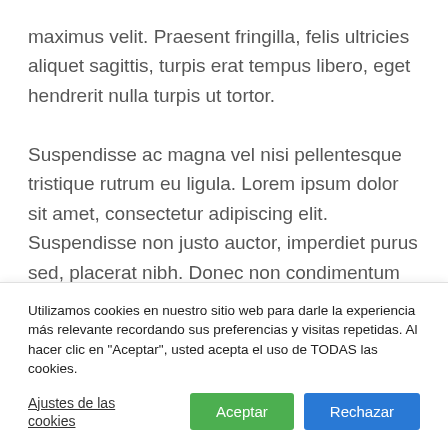maximus velit. Praesent fringilla, felis ultricies aliquet sagittis, turpis erat tempus libero, eget hendrerit nulla turpis ut tortor.

Suspendisse ac magna vel nisi pellentesque tristique rutrum eu ligula. Lorem ipsum dolor sit amet, consectetur adipiscing elit. Suspendisse non justo auctor, imperdiet purus sed, placerat nibh. Donec non condimentum augue. Morbi faucibus luctus leo, vitae vehicula libero
Utilizamos cookies en nuestro sitio web para darle la experiencia más relevante recordando sus preferencias y visitas repetidas. Al hacer clic en "Aceptar", usted acepta el uso de TODAS las cookies.
Ajustes de las cookies | Aceptar | Rechazar